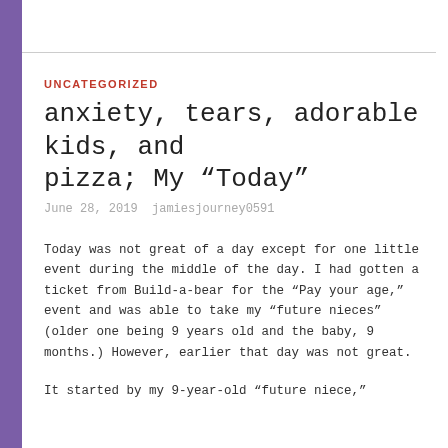UNCATEGORIZED
anxiety, tears, adorable kids, and pizza; My “Today”
June 28, 2019  jamiesjourney0591
Today was not great of a day except for one little event during the middle of the day. I had gotten a ticket from Build-a-bear for the “Pay your age,” event and was able to take my “future nieces” (older one being 9 years old and the baby, 9 months.) However, earlier that day was not great.
It started by my 9-year-old “future niece,”